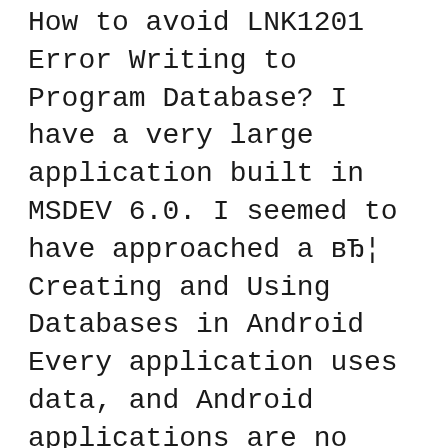How to avoid LNK1201 Error Writing to Program Database? I have a very large application built in MSDEV 6.0. I seemed to have approached a вЂ¦ Creating and Using Databases in Android Every application uses data, and Android applications are no exception. Android uses the open-source, stand-alone SQL database
Learn How To Build a Web Application Without in learning how to create database-driven web applications and browser prior software programming knowledge Creating a Microsoft Access Application: Plan a training program to train the users of the application. Create database applications using Microsoft